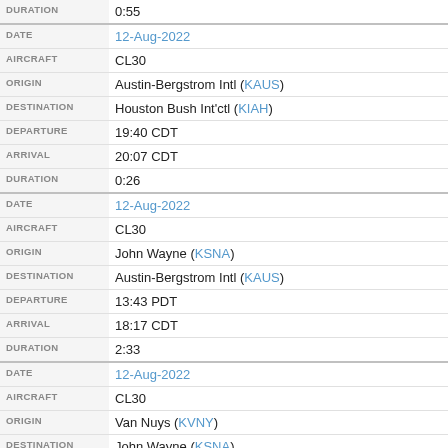| Field | Value |
| --- | --- |
| DURATION | 0:55 |
| DATE | 12-Aug-2022 |
| AIRCRAFT | CL30 |
| ORIGIN | Austin-Bergstrom Intl (KAUS) |
| DESTINATION | Houston Bush Int'ctl (KIAH) |
| DEPARTURE | 19:40 CDT |
| ARRIVAL | 20:07 CDT |
| DURATION | 0:26 |
| DATE | 12-Aug-2022 |
| AIRCRAFT | CL30 |
| ORIGIN | John Wayne (KSNA) |
| DESTINATION | Austin-Bergstrom Intl (KAUS) |
| DEPARTURE | 13:43 PDT |
| ARRIVAL | 18:17 CDT |
| DURATION | 2:33 |
| DATE | 12-Aug-2022 |
| AIRCRAFT | CL30 |
| ORIGIN | Van Nuys (KVNY) |
| DESTINATION | John Wayne (KSNA) |
| DEPARTURE | 11:35 PDT |